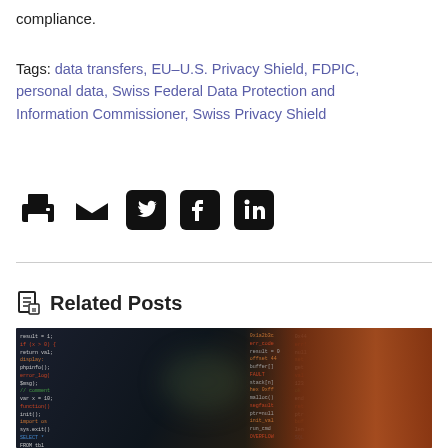compliance.
Tags: data transfers, EU–U.S. Privacy Shield, FDPIC, personal data, Swiss Federal Data Protection and Information Commissioner, Swiss Privacy Shield
[Figure (infographic): Social sharing icons: print, email, Twitter, Facebook, LinkedIn]
Related Posts
[Figure (photo): Dark hacker/coding scene with code on screen and a person's silhouette or face partially visible, orange tones on right side]